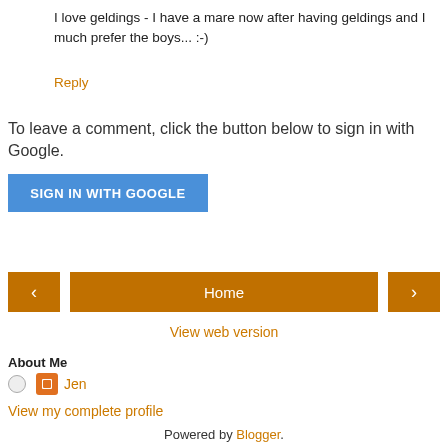I love geldings - I have a mare now after having geldings and I much prefer the boys... :-)
Reply
To leave a comment, click the button below to sign in with Google.
[Figure (other): Blue 'SIGN IN WITH GOOGLE' button]
[Figure (other): Navigation bar with left arrow, Home button, right arrow]
View web version
About Me
Jen
View my complete profile
Powered by Blogger.